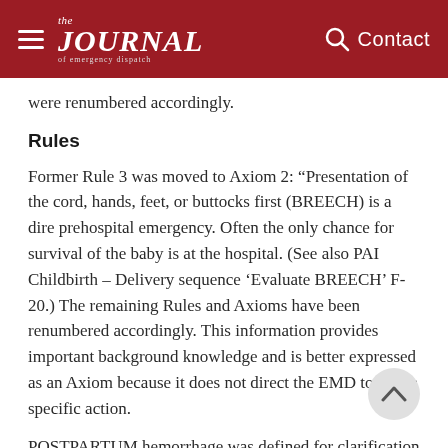the JOURNAL of emergency dispatch — Contact
were renumbered accordingly.
Rules
Former Rule 3 was moved to Axiom 2: “Presentation of the cord, hands, feet, or buttocks first (BREECH) is a dire prehospital emergency. Often the only chance for survival of the baby is at the hospital. (See also PAI Childbirth – Delivery sequence ‘Evaluate BREECH’ F-20.) The remaining Rules and Axioms have been renumbered accordingly. This information provides important background knowledge and is better expressed as an Axiom because it does not direct the EMD to take a specific action.
POSTPARTUM hemorrhage was defined for clarification (“Vaginal bleeding